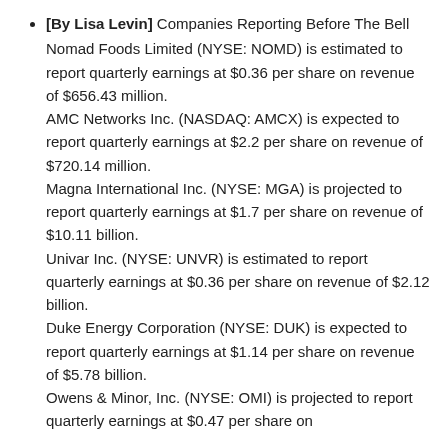[By Lisa Levin] Companies Reporting Before The Bell
Nomad Foods Limited (NYSE: NOMD) is estimated to report quarterly earnings at $0.36 per share on revenue of $656.43 million.
AMC Networks Inc. (NASDAQ: AMCX) is expected to report quarterly earnings at $2.2 per share on revenue of $720.14 million.
Magna International Inc. (NYSE: MGA) is projected to report quarterly earnings at $1.7 per share on revenue of $10.11 billion.
Univar Inc. (NYSE: UNVR) is estimated to report quarterly earnings at $0.36 per share on revenue of $2.12 billion.
Duke Energy Corporation (NYSE: DUK) is expected to report quarterly earnings at $1.14 per share on revenue of $5.78 billion.
Owens & Minor, Inc. (NYSE: OMI) is projected to report quarterly earnings at $0.47 per share on